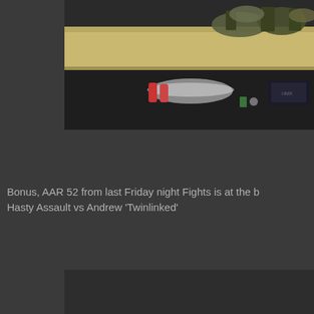[Figure (photo): Partial view of a gaming table or shelf with miniatures and items stored underneath, shown at the top portion of the page. The image is cropped, showing a wooden shelf edge with figurines on top and storage items below.]
Bonus, AAR 52 from last Friday night Fights is at the b Hasty Assault vs Andrew 'Twinlinked'